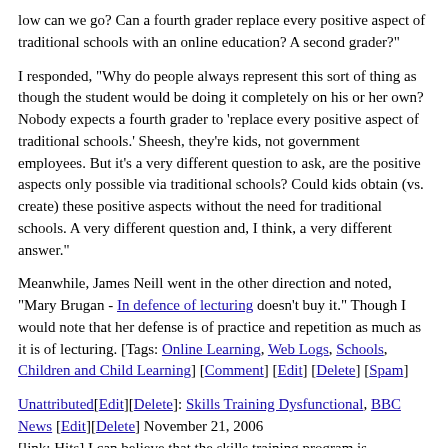low can we go? Can a fourth grader replace every positive aspect of traditional schools with an online education? A second grader?"
I responded, "Why do people always represent this sort of thing as though the student would be doing it completely on his or her own? Nobody expects a fourth grader to 'replace every positive aspect of traditional schools.' Sheesh, they're kids, not government employees. But it's a very different question to ask, are the positive aspects only possible via traditional schools? Could kids obtain (vs. create) these positive aspects without the need for traditional schools. A very different question and, I think, a very different answer."
Meanwhile, James Neill went in the other direction and noted, "Mary Brugan - In defence of lecturing doesn't buy it." Though I would note that her defense is of practice and repetition as much as it is of lecturing. [Tags: Online Learning, Web Logs, Schools, Children and Child Learning] [Comment] [Edit] [Delete] [Spam]
Unattributed[Edit][Delete]: Skills Training Dysfunctional, BBC News [Edit][Delete] November 21, 2006 [link: Hits] I can believe that the skills training program is dysfunctional. But I am not convinced that it ought to be put into the hands of business and industry to manage. After all, aren't they the ones who demanded something like the current "'alphabet soup'